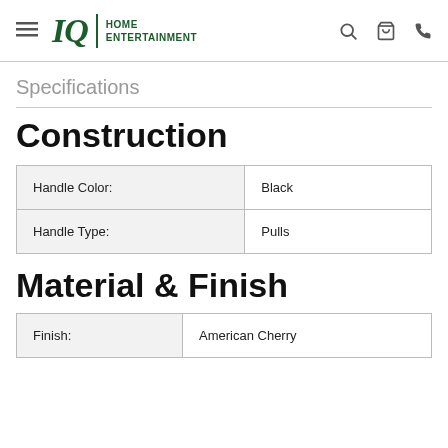IQ HOME ENTERTAINMENT
Specifications
Construction
| Handle Color: | Black |
| Handle Type: | Pulls |
Material & Finish
| Finish: | American Cherry |